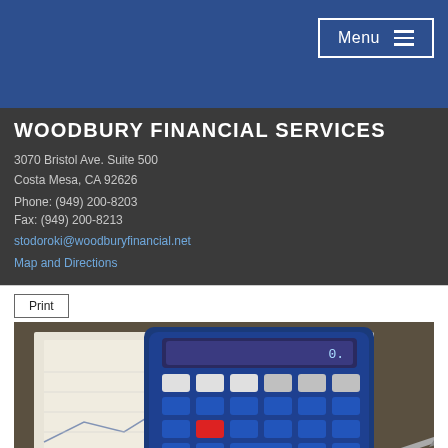Menu
WOODBURY FINANCIAL SERVICES
3070 Bristol Ave. Suite 500
Costa Mesa, CA 92626
Phone: (949) 200-8203
Fax: (949) 200-8213
stodoroki@woodburyfinancial.net
Map and Directions
Print
[Figure (photo): Blue calculator with red and blue keys resting on financial documents with a pen, on a dark wooden surface.]